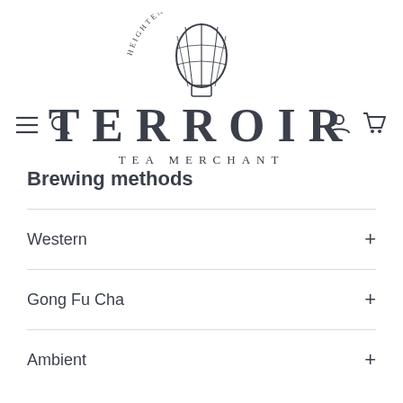[Figure (logo): Terroir Tea Merchant logo: hot air balloon with text 'HEIGHTEN THE SENSES' arcing above, large serif TERROIR text, and TEA MERCHANT subtitle]
Brewing methods
Western
Gong Fu Cha
Ambient